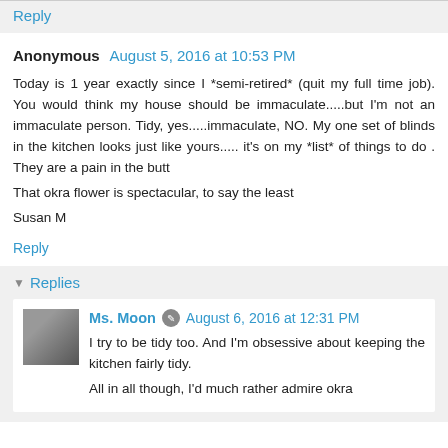Reply
Anonymous  August 5, 2016 at 10:53 PM
Today is 1 year exactly since I *semi-retired* (quit my full time job). You would think my house should be immaculate.....but I'm not an immaculate person. Tidy, yes.....immaculate, NO. My one set of blinds in the kitchen looks just like yours..... it's on my *list* of things to do . They are a pain in the butt
That okra flower is spectacular, to say the least
Susan M
Reply
Replies
Ms. Moon  August 6, 2016 at 12:31 PM
I try to be tidy too. And I'm obsessive about keeping the kitchen fairly tidy.
All in all though, I'd much rather admire okra